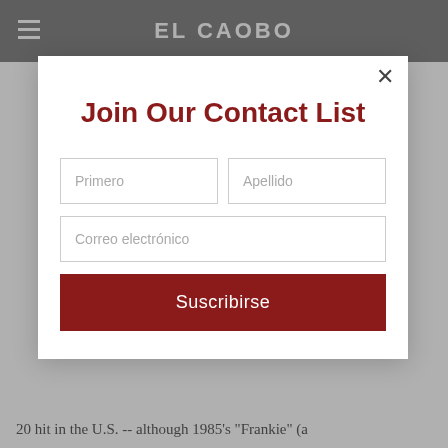EL CAOBO
Join Our Contact List
Primero
Apellido
Correo electrónico
Suscribirse
20 hit in the U.S. -- although 1985's "Frankie" (a